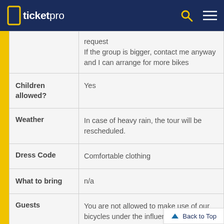ticketpro
| Label | Value |
| --- | --- |
|  | request
If the group is bigger, contact me anyway and I can arrange for more bikes |
| Children allowed? | Yes |
| Weather | In case of heavy rain, the tour will be rescheduled. |
| Dress Code | Comfortable clothing |
| What to bring | n/a |
| Guests | You are not allowed to make use of our bicycles under the influence of drugs or alcohol.
These are backpedal Du...
You have to be tall enough to ride |